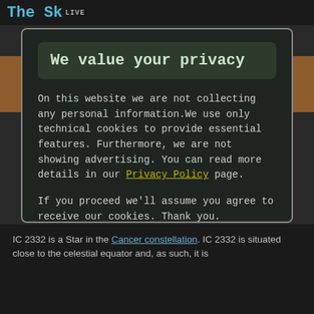The Sky LIVE
We value your privacy
On this website we are not collecting any personal information.We use only technical cookies to provide essential features. Furthermore, we are not showing advertising. You can read more details in our Privacy Policy page.
If you proceed we'll assume you agree to receive our cookies. Thank you.
Proceed to TheSkyLive.com
IC 2332 is a Star in the Cancer constellation. IC 2332 is situated close to the celestial equator and, as such, it is